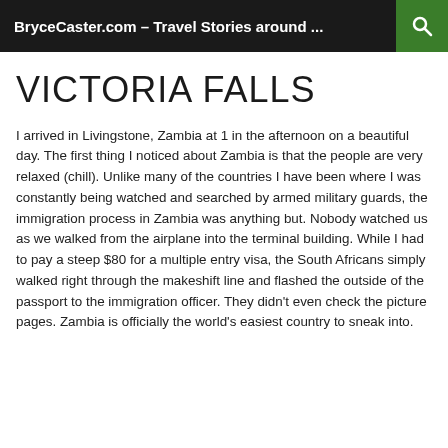BryceCaster.com – Travel Stories around ...
VICTORIA FALLS
I arrived in Livingstone, Zambia at 1 in the afternoon on a beautiful day. The first thing I noticed about Zambia is that the people are very relaxed (chill). Unlike many of the countries I have been where I was constantly being watched and searched by armed military guards, the immigration process in Zambia was anything but. Nobody watched us as we walked from the airplane into the terminal building. While I had to pay a steep $80 for a multiple entry visa, the South Africans simply walked right through the makeshift line and flashed the outside of the passport to the immigration officer. They didn't even check the picture pages. Zambia is officially the world's easiest country to sneak into.